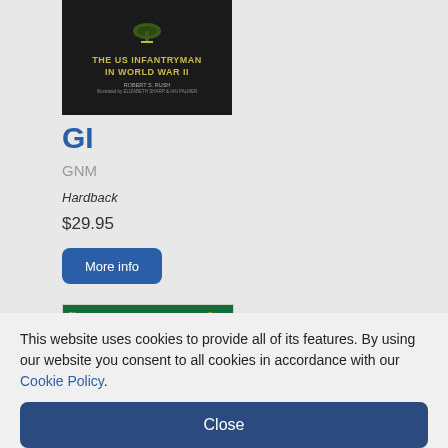[Figure (photo): Book cover: 'The US Infantryman in World War II' by Robert S. Rush, with dark background and military insignia]
GI
GNM
Hardback
$29.95
More info
[Figure (photo): Book cover: 'US Army Airborne 1940–90' with illustration of three soldiers in military uniforms]
This website uses cookies to provide all of its features. By using our website you consent to all cookies in accordance with our Cookie Policy.
Close